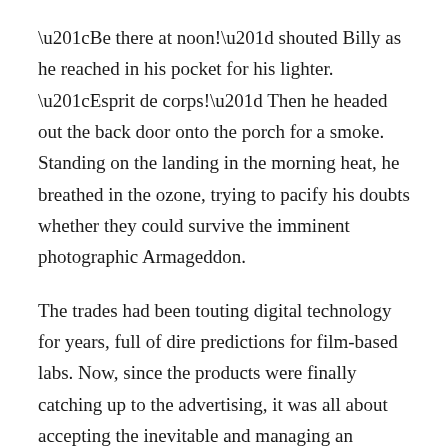“Be there at noon!” shouted Billy as he reached in his pocket for his lighter. “Esprit de corps!” Then he headed out the back door onto the porch for a smoke. Standing on the landing in the morning heat, he breathed in the ozone, trying to pacify his doubts whether they could survive the imminent photographic Armageddon.
The trades had been touting digital technology for years, full of dire predictions for film-based labs. Now, since the products were finally catching up to the advertising, it was all about accepting the inevitable and managing an orderly extinction. He’d survived worse, he thought, as he gave flame to the tip of his tobacco but it was going to be a bumpy ride.
Oh Joy.